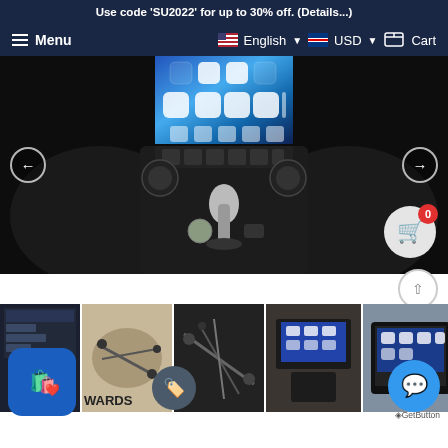Use code 'SU2022' for up to 30% off. (Details...)
Menu  English  USD  Cart
[Figure (photo): Car interior dashboard photo showing a large touchscreen display with app icons, HVAC controls, knobs, and gear shift. Left and right navigation arrows visible. Cart bubble with count 0 in bottom right.]
[Figure (photo): Thumbnail strip showing 6 product images: car stereo system, wiring harness, cables/brackets, car interior with screen installed, screen unit front view, accessory kit.]
WARDS
GetButton